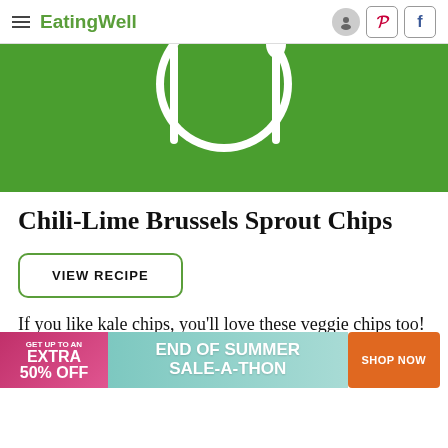EatingWell
[Figure (illustration): Green background with white plate/fork/spoon icon (EatingWell logo placeholder hero image)]
Chili-Lime Brussels Sprout Chips
VIEW RECIPE
If you like kale chips, you'll love these veggie chips too! The outer leaves of large Brussels sprouts make the perfect "chips"! Please keep in mind to remove the outer leaves and ones
[Figure (infographic): Ad banner: GET UP TO AN EXTRA 50% OFF | END OF SUMMER SALE-A-THON | SHOP NOW]